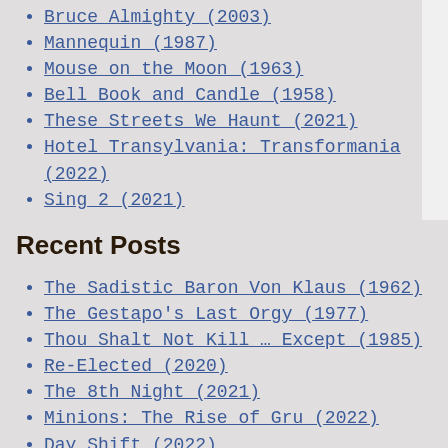Bruce Almighty (2003)
Mannequin (1987)
Mouse on the Moon (1963)
Bell Book and Candle (1958)
These Streets We Haunt (2021)
Hotel Transylvania: Transformania (2022)
Sing 2 (2021)
Recent Posts
The Sadistic Baron Von Klaus (1962)
The Gestapo's Last Orgy (1977)
Thou Shalt Not Kill … Except (1985)
Re-Elected (2020)
The 8th Night (2021)
Minions: The Rise of Gru (2022)
Day Shift (2022)
Gremlin (2017)
Sundown: The Vampire in Retreat (1989)